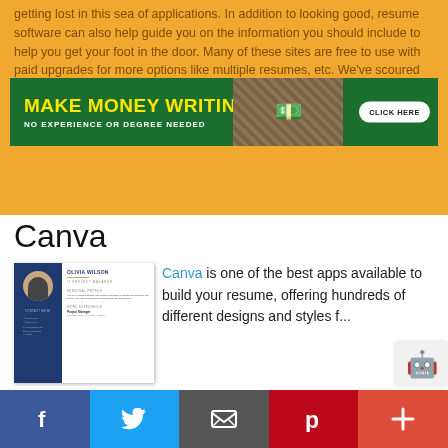getting lost in this sea of applications. In addition to looking good, resume software can also help guide you on the information you should include to help you get your foot in the door. Many of these sites are free to use with paid upgrades for more options like multiple resumes, etc. We've scoured the internet and have found the best resume software to build your resume so that you can get started right away.
[Figure (infographic): Advertisement banner reading 'MAKE MONEY WRITING' with subtitle 'NO EXPERIENCE OR DEGREE NEEDED' and a 'CLICK HERE' button, with money imagery on the right]
Canva
[Figure (screenshot): Screenshot of a Canva resume template for 'OLIVIA WILSON - IT PROJECT MANAGER' showing a professional resume layout with blue sidebar, profile photo, personal profile, and work experience sections]
Canva is one of the best apps available to build your resume, offering hundreds of different designs and styles for...
[Figure (other): Social sharing bar with Facebook, Twitter, Email, Pinterest, and plus buttons]